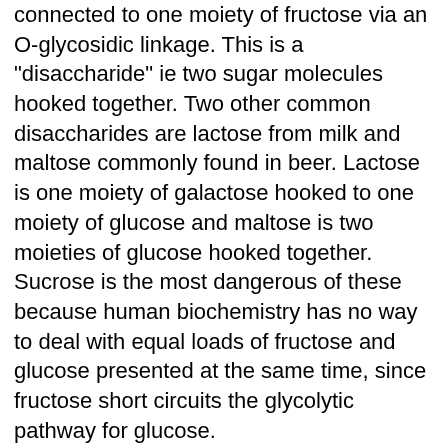The molecule sucrose consists of one moiety of glucose connected to one moiety of fructose via an O-glycosidic linkage. This is a "disaccharide" ie two sugar molecules hooked together. Two other common disaccharides are lactose from milk and maltose commonly found in beer. Lactose is one moiety of galactose hooked to one moiety of glucose and maltose is two moieties of glucose hooked together. Sucrose is the most dangerous of these because human biochemistry has no way to deal with equal loads of fructose and glucose presented at the same time, since fructose short circuits the glycolytic pathway for glucose.
There has been much written about the dangers of sucrose but suffice it to say, adult onset diabetes mellitus is now epidemic. I feel that while both adult and juvenile diabetes may have to varying degrees the same common cause, ie confusion of the immature immune system by cow's milk with different degrees of expression, without the ongoing record levels of sucrose consumption in America, we would not be having this explosion of adult onset diabetes mellitus( a polite and confusing term for sugar toxicity).